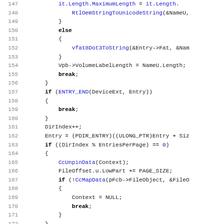[Figure (screenshot): Source code listing (C/C++) with line numbers 147-179, showing file system driver code with syntax highlighting. Keywords in bold black, function/macro names in blue.]